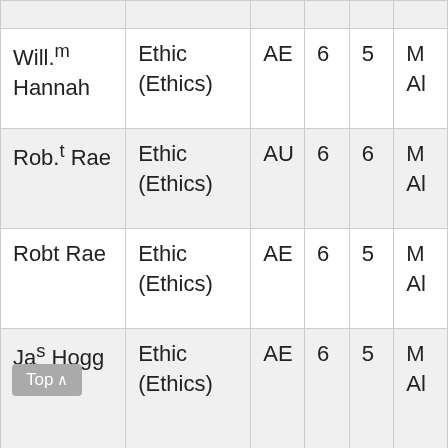| Name | Subject | Code | Col4 | Col5 | Col6 |
| --- | --- | --- | --- | --- | --- |
| Will.m Hannah | Ethic (Ethics) | AE | 6 | 5 | M Al |
| Rob.t Rae | Ethic (Ethics) | AU | 6 | 6 | M Al |
| Robt Rae | Ethic (Ethics) | AE | 6 | 5 | M Al |
| Jas Hogg | Ethic (Ethics) | AE | 6 | 5 | M Al |